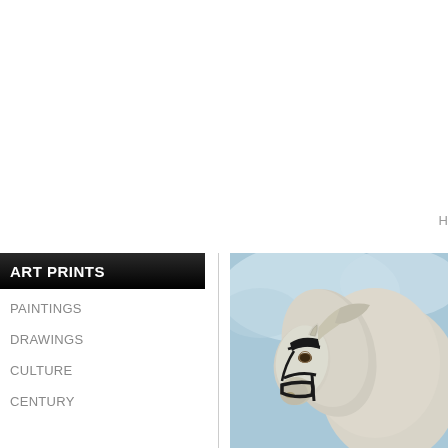H
ART PRINTS
PAINTINGS
DRAWINGS
CULTURE
CENTURY
[Figure (photo): Close-up painting of a white horse head with dark bridle, blue sky background]